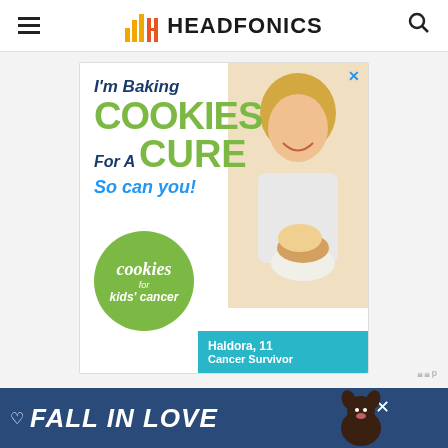HEADFONICS
[Figure (photo): Advertisement for Cookies for Kids Cancer showing a young girl holding a plate of cookies. Text reads: I'm Baking COOKIES For A CURE So can you! Cookies for kids' cancer. Haldora, 11 Cancer Survivor.]
[Figure (photo): Bottom banner advertisement reading FALL IN LOVE with a dog image, on a dark blue background.]